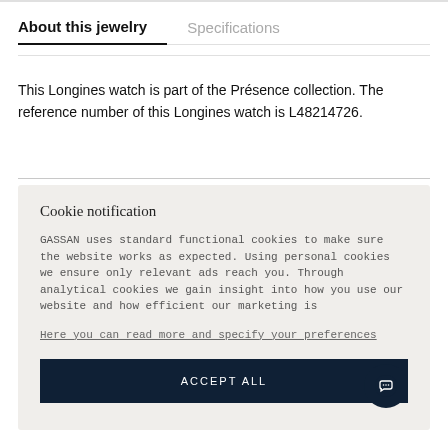About this jewelry	Specifications
This Longines watch is part of the Présence collection. The reference number of this Longines watch is L48214726.
Cookie notification
GASSAN uses standard functional cookies to make sure the website works as expected. Using personal cookies we ensure only relevant ads reach you. Through analytical cookies we gain insight into how you use our website and how efficient our marketing is
Here you can read more and specify your preferences
ACCEPT ALL